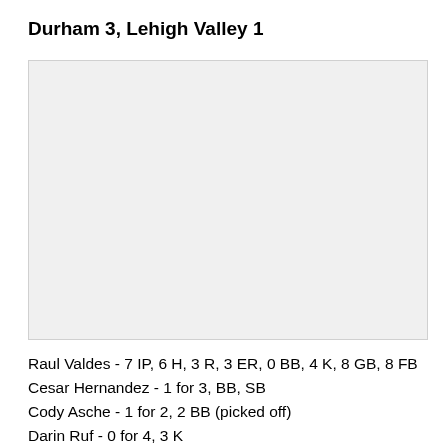Durham 3, Lehigh Valley 1
[Figure (photo): Photo or image placeholder related to the Durham vs Lehigh Valley game]
Raul Valdes - 7 IP, 6 H, 3 R, 3 ER, 0 BB, 4 K, 8 GB, 8 FB
Cesar Hernandez - 1 for 3, BB, SB
Cody Asche - 1 for 2, 2 BB (picked off)
Darin Ruf - 0 for 4, 3 K